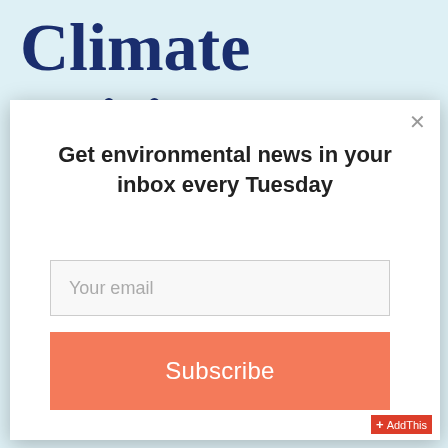Climate Crisis Means Higher
Get environmental news in your inbox every Tuesday
Your email
Subscribe
AddThis